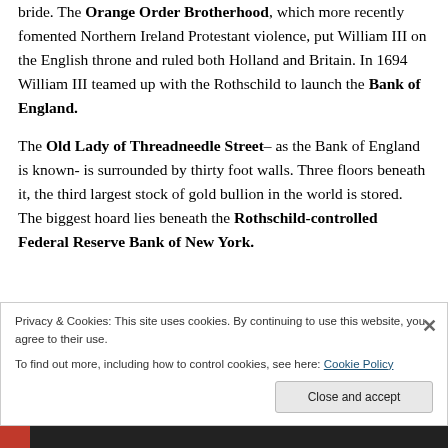bride.  The Orange Order Brotherhood, which more recently fomented Northern Ireland Protestant violence, put William III on the English throne and ruled both Holland and Britain.  In 1694 William III teamed up with the Rothschild to launch the Bank of England.
The Old Lady of Threadneedle Street– as the Bank of England is known- is surrounded by thirty foot walls.  Three floors beneath it, the third largest stock of gold bullion in the world is stored.  The biggest hoard lies beneath the Rothschild-controlled Federal Reserve Bank of New York.
Privacy & Cookies: This site uses cookies. By continuing to use this website, you agree to their use.
To find out more, including how to control cookies, see here: Cookie Policy